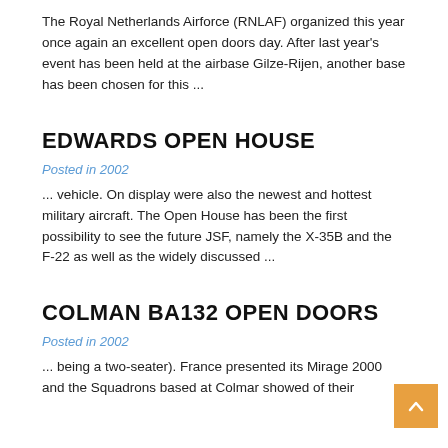The Royal Netherlands Airforce (RNLAF) organized this year once again an excellent open doors day. After last year's event has been held at the airbase Gilze-Rijen, another base has been chosen for this ...
EDWARDS OPEN HOUSE
Posted in 2002
... vehicle. On display were also the newest and hottest military aircraft. The Open House has been the first possibility to see the future JSF, namely the X-35B and the F-22 as well as the widely discussed ...
COLMAN BA132 OPEN DOORS
Posted in 2002
... being a two-seater). France presented its Mirage 2000 and the Squadrons based at Colmar showed of their